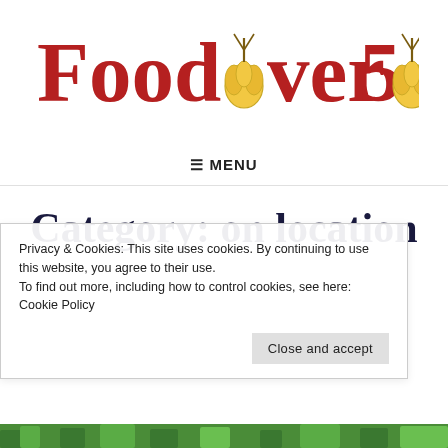[Figure (logo): FoodOver50 logo with red serif text and garlic bulb illustrations replacing the letter O]
≡ MENU
Category: on location
Privacy & Cookies: This site uses cookies. By continuing to use this website, you agree to their use.
To find out more, including how to control cookies, see here: Cookie Policy
Close and accept
[Figure (photo): Bottom strip of a photo showing tropical/outdoor scenery with green vegetation]